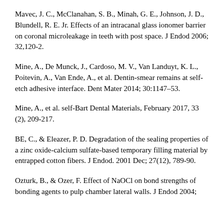Mavec, J. C., McClanahan, S. B., Minah, G. E., Johnson, J. D., Blundell, R. E. Jr. Effects of an intracanal glass ionomer barrier on coronal microleakage in teeth with post space. J Endod 2006; 32,120-2.
Mine, A., De Munck, J., Cardoso, M. V., Van Landuyt, K. L., Poitevin, A., Van Ende, A., et al. Dentin-smear remains at self-etch adhesive interface. Dent Mater 2014; 30:1147–53.
Mine, A., et al. self-Bart Dental Materials, February 2017, 33 (2), 209-217.
BE, C., & Eleazer, P. D. Degradation of the sealing properties of a zinc oxide-calcium sulfate-based temporary filling material by entrapped cotton fibers. J Endod. 2001 Dec; 27(12), 789-90.
Ozturk, B., & Ozer, F. Effect of NaOCl on bond strengths of bonding agents to pulp chamber lateral walls. J Endod 2004;